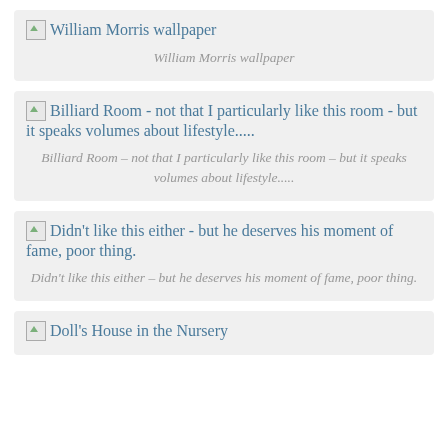[Figure (other): Broken image placeholder with alt text: William Morris wallpaper]
William Morris wallpaper
[Figure (other): Broken image placeholder with alt text: Billiard Room - not that I particularly like this room - but it speaks volumes about lifestyle.....]
Billiard Room – not that I particularly like this room – but it speaks volumes about lifestyle.....
[Figure (other): Broken image placeholder with alt text: Didn't like this either - but he deserves his moment of fame, poor thing.]
Didn't like this either – but he deserves his moment of fame, poor thing.
[Figure (other): Broken image placeholder with alt text: Doll's House in the Nursery]